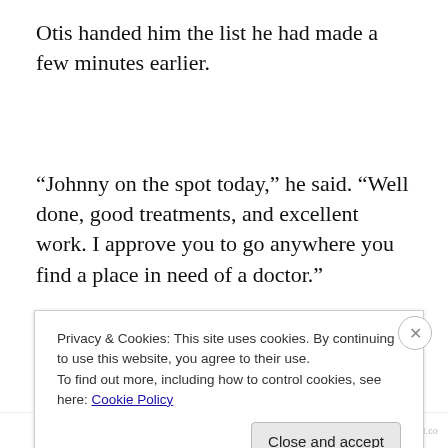Otis handed him the list he had made a few minutes earlier.
“Johnny on the spot today,” he said. “Well done, good treatments, and excellent work. I approve you to go anywhere you find a place in need of a doctor.”
“About that,” Otis said. “You mentioned Jenner Medical
Privacy & Cookies: This site uses cookies. By continuing to use this website, you agree to their use.
To find out more, including how to control cookies, see here: Cookie Policy
Close and accept